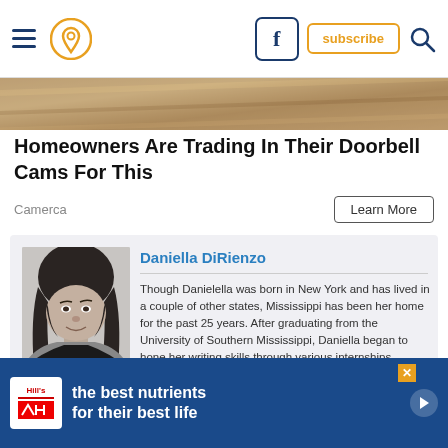Navigation bar with hamburger menu, location pin icon, Facebook icon, subscribe button, and search icon
[Figure (photo): Top decorative image strip showing a textured golden/brown surface, partially visible]
Homeowners Are Trading In Their Doorbell Cams For This
Camerca
[Figure (photo): Black and white headshot portrait of Daniella DiRienzo, a woman with dark hair]
Daniella DiRienzo
Though Daniella was born in New York and has lived in a couple of other states, Mississippi has been her home for the past 25 years. After graduating from the University of Southern Mississippi, Daniella began to hone her writing skills through various internships, working for The Royal Obsession and Anatomie clothing. In addition to having written for publications such as Parents & Node magazine and Girl Meets Strong. She's also had the honor of interviewing actress Seia Ward for The Mississippi Arts and Entertainment Experience.
[Figure (infographic): Hill's Pet Nutrition advertisement banner with blue background reading 'the best nutrients for their best life']